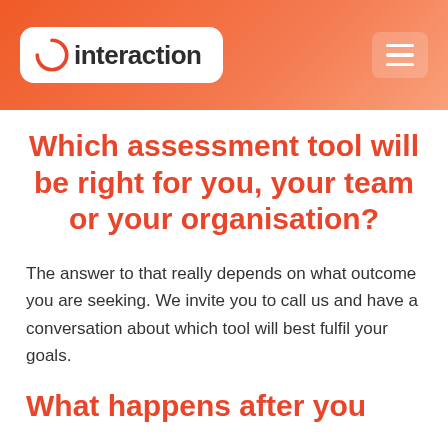[Figure (logo): Interaction logo with red circular swoosh and company name on white rounded rectangle background, within an orange gradient header bar with hamburger menu icon]
Which assessment tool will be right for you, your team or your organisation?
The answer to that really depends on what outcome you are seeking. We invite you to call us and have a conversation about which tool will best fulfil your goals.
What happens after you